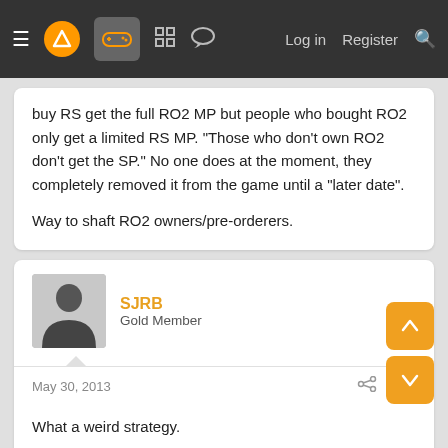≡ [logo] [gamepad] [grid] [chat]  Log in  Register  🔍
buy RS get the full RO2 MP but people who bought RO2 only get a limited RS MP. "Those who don't own RO2 don't get the SP." No one does at the moment, they completely removed it from the game until a "later date".

Way to shaft RO2 owners/pre-orderers.
SJRB
Gold Member
May 30, 2013
#149
What a weird strategy.
Chance Hale
Member